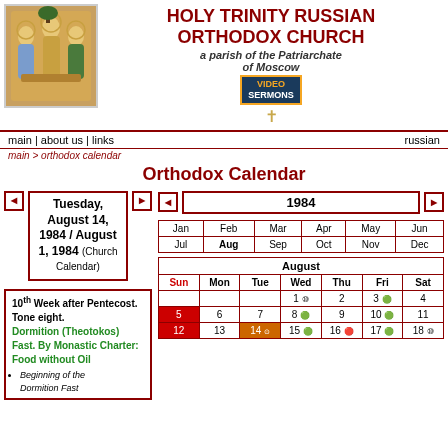HOLY TRINITY RUSSIAN ORTHODOX CHURCH
a parish of the Patriarchate of Moscow
[Figure (illustration): Icon of the Holy Trinity - three angelic figures seated around a table, Russian Orthodox style painting with gold background]
[Figure (other): Video Sermons button/badge with dark blue background and gold/orange text]
✝
main | about us | links   russian
main > orthodox calendar
Orthodox Calendar
Tuesday, August 14, 1984 / August 1, 1984 (Church Calendar)
1984
10th Week after Pentecost. Tone eight.
Dormition (Theotokos) Fast. By Monastic Charter: Food without Oil
Beginning of the Dormition Fast
| Jan | Feb | Mar | Apr | May | Jun | Jul | Aug | Sep | Oct | Nov | Dec |
| --- | --- | --- | --- | --- | --- | --- | --- | --- | --- | --- | --- |
| Sun | Mon | Tue | Wed | Thu | Fri | Sat |
| --- | --- | --- | --- | --- | --- | --- |
|  |  |  | 1 | 2 | 3 | 4 |
| 5 | 6 | 7 | 8 | 9 | 10 | 11 |
| 12 | 13 | 14 | 15 | 16 | 17 | 18 |